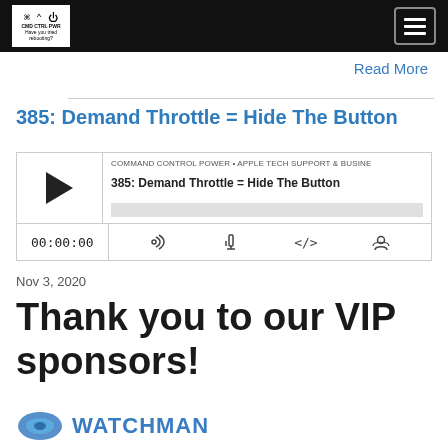CMD CTRL PWR • Have you tried rebooting?
Read More
385: Demand Throttle = Hide The Button
[Figure (other): Podcast audio player widget showing play button, episode title '385: Demand Throttle = Hide The Button', channel 'COMMAND CONTROL POWER • APPLE TECH SUPPORT & BUSINE', progress bar, time 00:00:00, and controls for RSS, download, embed, and headphone icons]
Nov 3, 2020
Thank you to our VIP sponsors!
[Figure (logo): Watchman logo - partial, circular icon with 'WATCHMAN' text in blue]